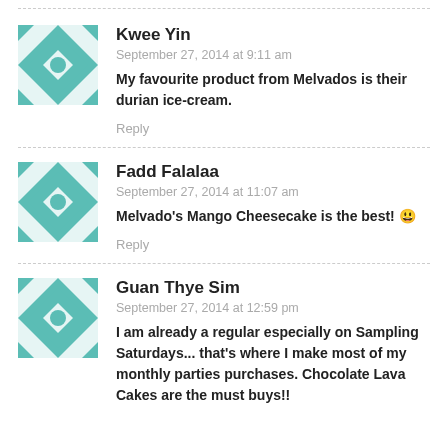Kwee Yin
September 27, 2014 at 9:11 am
My favourite product from Melvados is their durian ice-cream.
Reply
Fadd Falalaa
September 27, 2014 at 11:07 am
Melvado's Mango Cheesecake is the best! 😀
Reply
Guan Thye Sim
September 27, 2014 at 12:59 pm
I am already a regular especially on Sampling Saturdays... that's where I make most of my monthly parties purchases. Chocolate Lava Cakes are the must buys!!
Reply